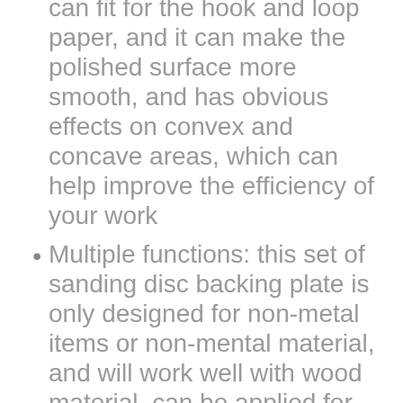can fit for the hook and loop paper, and it can make the polished surface more smooth, and has obvious effects on convex and concave areas, which can help improve the efficiency of your work
Multiple functions: this set of sanding disc backing plate is only designed for non-metal items or non-mental material, and will work well with wood material, can be applied for shaping, polishing, carving and more, multi-functional woodworking tools to meet your various requirements